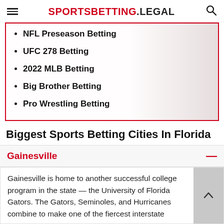SPORTSBETTING.LEGAL
NFL Preseason Betting
UFC 278 Betting
2022 MLB Betting
Big Brother Betting
Pro Wrestling Betting
Biggest Sports Betting Cities In Florida
Gainesville
Gainesville is home to another successful college program in the state — the University of Florida Gators. The Gators, Seminoles, and Hurricanes combine to make one of the fiercest interstate